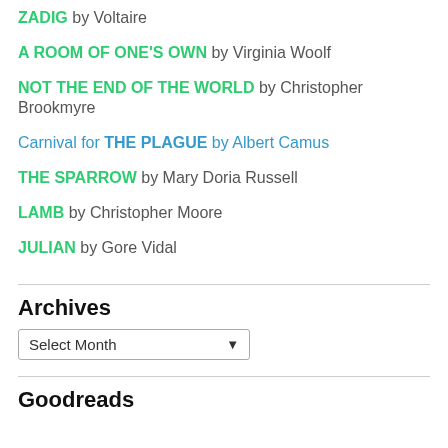ZADIG by Voltaire
A ROOM OF ONE'S OWN by Virginia Woolf
NOT THE END OF THE WORLD by Christopher Brookmyre
Carnival for THE PLAGUE by Albert Camus
THE SPARROW by Mary Doria Russell
LAMB by Christopher Moore
JULIAN by Gore Vidal
Archives
Select Month
Goodreads